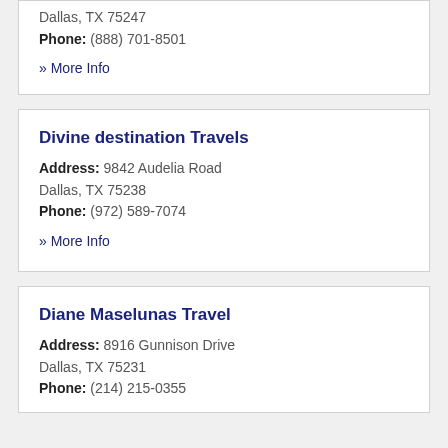Dallas, TX 75247
Phone: (888) 701-8501
» More Info
Divine destination Travels
Address: 9842 Audelia Road Dallas, TX 75238
Phone: (972) 589-7074
» More Info
Diane Maselunas Travel
Address: 8916 Gunnison Drive Dallas, TX 75231
Phone: (214) 215-0355